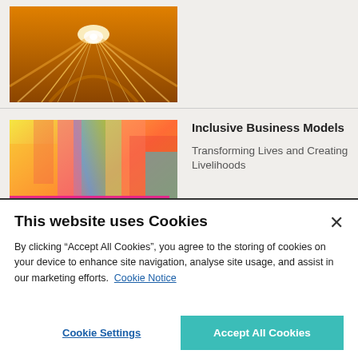[Figure (photo): Motion-blurred road photo with orange/golden light streaks converging to a vanishing point]
[Figure (photo): Book cover for 'Inclusive Business Models' with colorful abstract art and pink/magenta text panel]
Inclusive Business Models
Transforming Lives and Creating Livelihoods
This website uses Cookies
By clicking “Accept All Cookies”, you agree to the storing of cookies on your device to enhance site navigation, analyse site usage, and assist in our marketing efforts. Cookie Notice
Cookie Settings
Accept All Cookies